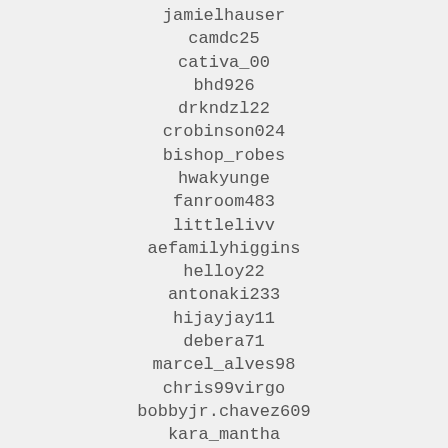jamielhauser
camdc25
cativa_00
bhd926
drkndzl22
crobinson024
bishop_robes
hwakyunge
fanroom483
littlelivv
aefamilyhiggins
helloy22
antonaki233
hijayjay11
debera71
marcel_alves98
chris99virgo
bobbyjr.chavez609
kara_mantha
hollymccausland
jpschmit2257
cat.ennis27
junk.other06
lex22857776175180927